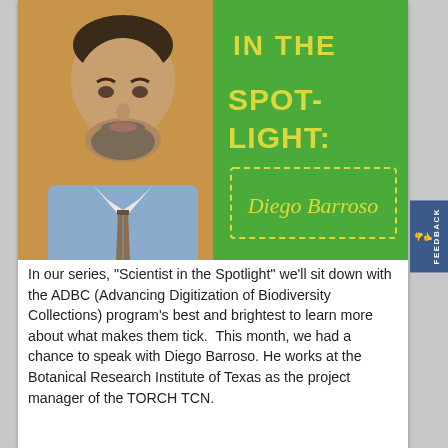[Figure (photo): Hero image split into two halves: left half shows a portrait photo of a middle-aged man with a beard wearing a light blue shirt and striped tie against an orange/tan background; right half is a green background with yellow bold text reading 'IN THE SPOTLIGHT:' and below it a dashed-border box with yellow italic text reading 'Diego Barroso']
In our series, "Scientist in the Spotlight" we'll sit down with the ADBC (Advancing Digitization of Biodiversity Collections) program's best and brightest to learn more about what makes them tick.  This month, we had a chance to speak with Diego Barroso. He works at the Botanical Research Institute of Texas as the project manager of the TORCH TCN.